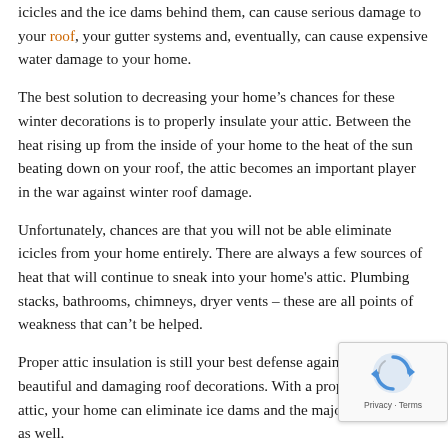icicles and the ice dams behind them, can cause serious damage to your roof, your gutter systems and, eventually, can cause expensive water damage to your home.
The best solution to decreasing your home’s chances for these winter decorations is to properly insulate your attic. Between the heat rising up from the inside of your home to the heat of the sun beating down on your roof, the attic becomes an important player in the war against winter roof damage.
Unfortunately, chances are that you will not be able eliminate icicles from your home entirely. There are always a few sources of heat that will continue to sneak into your home's attic. Plumbing stacks, bathrooms, chimneys, dryer vents – these are all points of weakness that can’t be helped.
Proper attic insulation is still your best defense against these beautiful and damaging roof decorations. With a properly insulated attic, your home can eliminate ice dams and the majority of icicles as well.